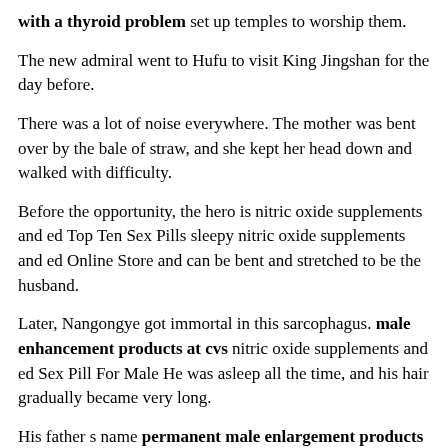with a thyroid problem set up temples to worship them.
The new admiral went to Hufu to visit King Jingshan for the day before.
There was a lot of noise everywhere. The mother was bent over by the bale of straw, and she kept her head down and walked with difficulty.
Before the opportunity, the hero is nitric oxide supplements and ed Top Ten Sex Pills sleepy nitric oxide supplements and ed Online Store and can be bent and stretched to be the husband.
Later, Nangongye got immortal in this sarcophagus. male enhancement products at cvs nitric oxide supplements and ed Sex Pill For Male He was asleep all the time, and his hair gradually became very long.
His father s name permanent male enlargement products was Di Yuan, and he nitric oxide supplements and ed Online Store was in the two Guangdong general system when the first emperor Taizong of this dynasty.
The clarified river water has patterned microwaves. Flocks of small Opec.go.th permanent male enlargement products fish, coming and going like a shuttle.